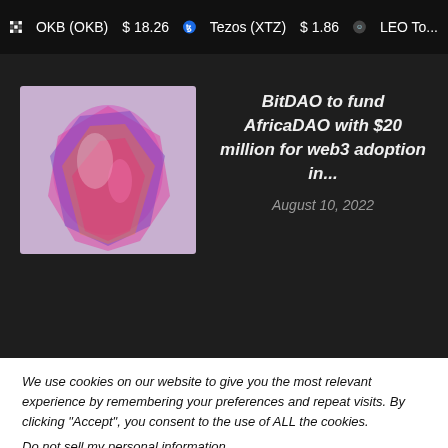OKB (OKB) $18.26   Tezos (XTZ) $1.86   LEO To...
BitDAO to fund AfricaDAO with $20 million for web3 adoption in...
August 10, 2022
We use cookies on our website to give you the most relevant experience by remembering your preferences and repeat visits. By clicking “Accept”, you consent to the use of ALL the cookies.
Do not sell my personal information.
Cookie settings   ACCEPT